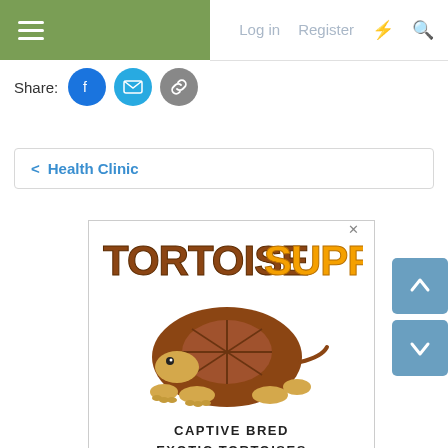Log in  Register
Share:
< Health Clinic
[Figure (illustration): Tortoise Supply advertisement banner featuring the 'TORTOISE SUPPLY' logo in brown and yellow text, an illustrated tortoise graphic, and the text 'CAPTIVE BRED EXOTIC TORTOISES']